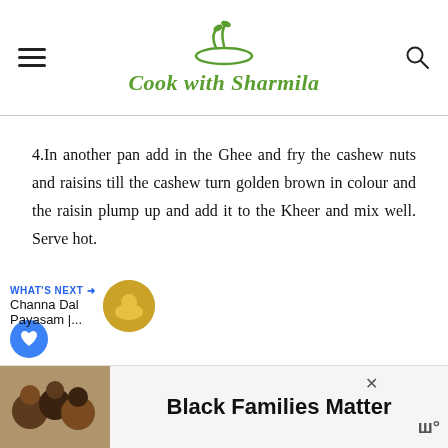Cook with Sharmila
4.In another pan add in the Ghee and fry the cashew nuts and raisins till the cashew turn golden brown in colour and the raisin plump up and add it to the Kheer and mix well. Serve hot.
WHAT'S NEXT → Channa Dal Payasam |...
Black Families Matter